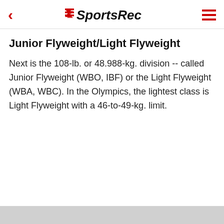SportsRec
Junior Flyweight/Light Flyweight
Next is the 108-lb. or 48.988-kg. division -- called Junior Flyweight (WBO, IBF) or the Light Flyweight (WBA, WBC). In the Olympics, the lightest class is Light Flyweight with a 46-to-49-kg. limit.